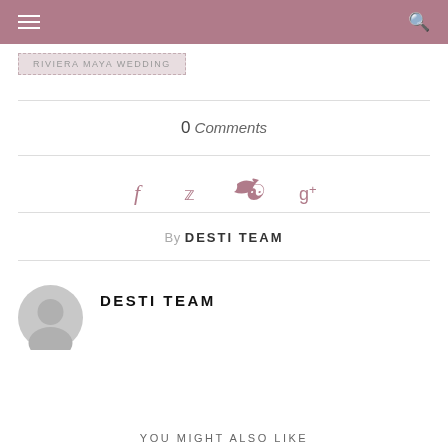≡  [search]
RIVIERA MAYA WEDDING
0 Comments
[Figure (other): Social share icons: Facebook, Twitter, Pinterest, Google+]
By DESTI TEAM
[Figure (other): Author avatar placeholder (circular grey silhouette)]
DESTI TEAM
YOU MIGHT ALSO LIKE